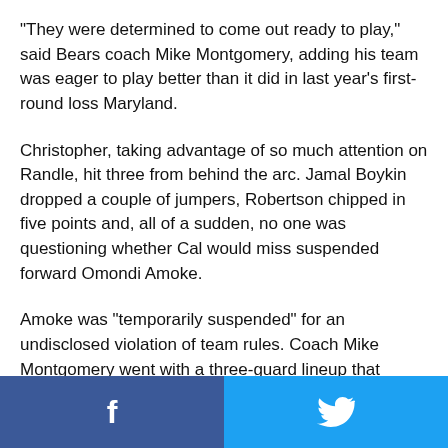"They were determined to come out ready to play," said Bears coach Mike Montgomery, adding his team was eager to play better than it did in last year's first-round loss Maryland.
Christopher, taking advantage of so much attention on Randle, hit three from behind the arc. Jamal Boykin dropped a couple of jumpers, Robertson chipped in five points and, all of a sudden, no one was questioning whether Cal would miss suspended forward Omondi Amoke.
Amoke was "temporarily suspended" for an undisclosed violation of team rules. Coach Mike Montgomery went with a three-guard lineup that helped counter Louisville's press.
The Cards, meanwhile, couldn't seem to do anything right.
They had three turnovers in their first eight possessions, got
Facebook | Twitter